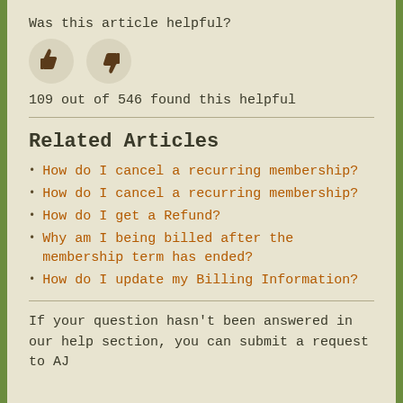Was this article helpful?
[Figure (illustration): Two circular buttons: thumbs up (left) and thumbs down (right) on beige circular backgrounds]
109 out of 546 found this helpful
Related Articles
How do I cancel a recurring membership?
How do I cancel a recurring membership?
How do I get a Refund?
Why am I being billed after the membership term has ended?
How do I update my Billing Information?
If your question hasn't been answered in our help section, you can submit a request to AJ